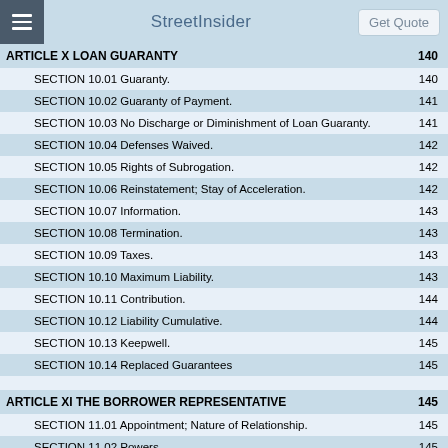StreetInsider | Get Quote
ARTICLE X LOAN GUARANTY ... 140
SECTION 10.01 Guaranty. 140
SECTION 10.02 Guaranty of Payment. 141
SECTION 10.03 No Discharge or Diminishment of Loan Guaranty. 141
SECTION 10.04 Defenses Waived. 142
SECTION 10.05 Rights of Subrogation. 142
SECTION 10.06 Reinstatement; Stay of Acceleration. 142
SECTION 10.07 Information. 143
SECTION 10.08 Termination. 143
SECTION 10.09 Taxes. 143
SECTION 10.10 Maximum Liability. 143
SECTION 10.11 Contribution. 144
SECTION 10.12 Liability Cumulative. 144
SECTION 10.13 Keepwell. 145
SECTION 10.14 Replaced Guarantees 145
ARTICLE XI THE BORROWER REPRESENTATIVE 145
SECTION 11.01 Appointment; Nature of Relationship. 145
SECTION 11.02 Powers. 145
SECTION 11.03 Employment of Agents. 145
SECTION 11.04 Notices. 146
SECTION 11.05 Successor Borrower Representative. 146
SECTION 11.06 Execution of Loan Documents; Borrowing Base Certificate. 146